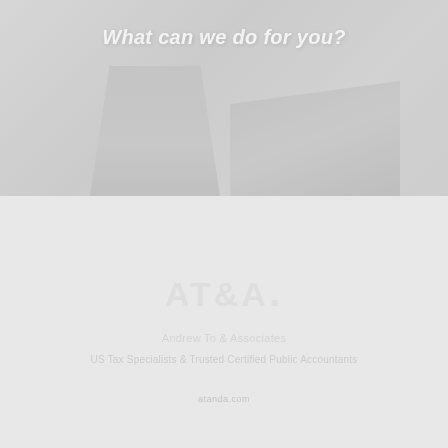[Figure (photo): Background photo showing people or architectural figures, faded/light overlay in gray tones]
What can we do for you?
[Figure (logo): AT&A. logo in white/light gray text on light gray background]
Andrew To & Associates
US Tax Specialists & Trusted Certified Public Accountants
atanda.com